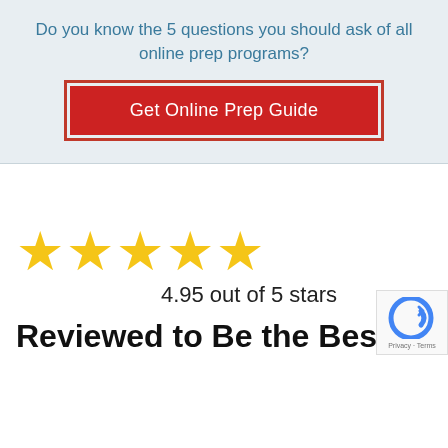Do you know the 5 questions you should ask of all online prep programs?
Get Online Prep Guide
[Figure (other): Five yellow star rating icons]
4.95 out of 5 stars
Reviewed to Be the Best